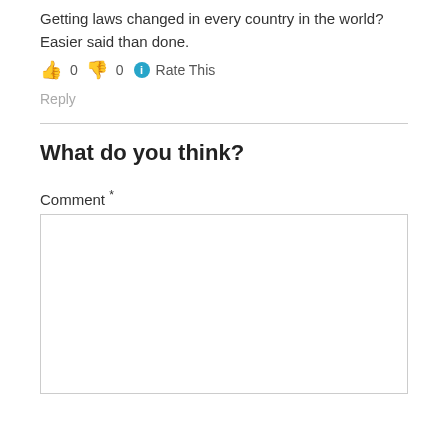Getting laws changed in every country in the world?
Easier said than done.
👍 0 👎 0 ℹ Rate This
Reply
What do you think?
Comment *
[Figure (screenshot): Empty comment textarea input box]